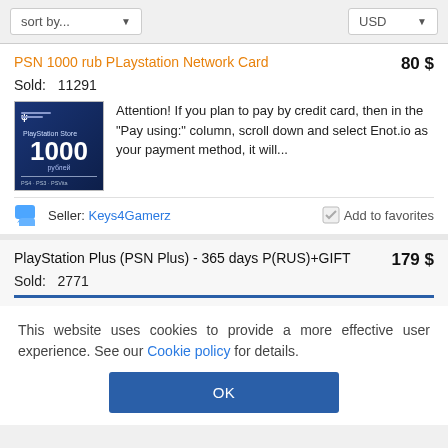sort by... ▼   USD ▼
PSN 1000 rub PLaystation Network Card   80 $
Sold:  11291
[Figure (photo): PlayStation Store 1000 rubles gift card product image, blue background]
Attention! If you plan to pay by credit card, then in the "Pay using:" column, scroll down and select Enot.io as your payment method, it will...
Seller: Keys4Gamerz   Add to favorites
PlayStation Plus (PSN Plus) - 365 days (RUS)+GIFT   179 $
Sold:  2771
This website uses cookies to provide a more effective user experience. See our Cookie policy for details.
OK